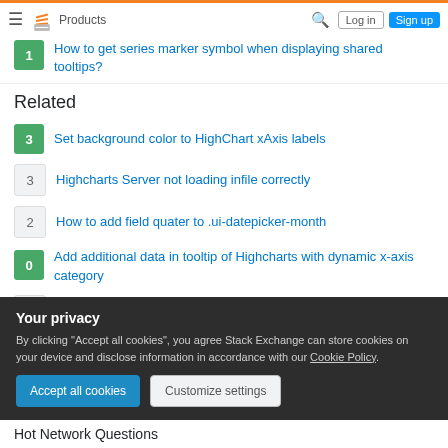≡  [StackOverflow logo]  Products  🔍  Log in  Sign up
1  How to get series marker symbol when displaying shared tooltips?
Related
3  Set background color to HighChart xAxis labels
3  Highcharts Server not loading infile correctly
2  How to add field quater to .ui-datepicker-month
0  Add additional data in tooltip of Highcharts with dynamic x-axis category
0  How to define name and value for x axis points in Highchart
Your privacy
By clicking "Accept all cookies", you agree Stack Exchange can store cookies on your device and disclose information in accordance with our Cookie Policy.
[Accept all cookies]  [Customize settings]
Hot Network Questions